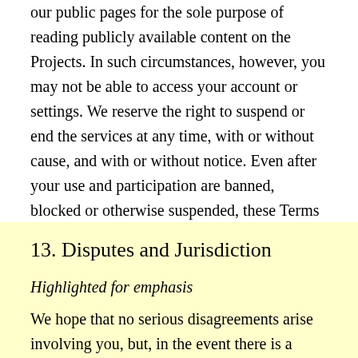our public pages for the sole purpose of reading publicly available content on the Projects. In such circumstances, however, you may not be able to access your account or settings. We reserve the right to suspend or end the services at any time, with or without cause, and with or without notice. Even after your use and participation are banned, blocked or otherwise suspended, these Terms of Use will remain in effect with respect to relevant provisions, including Sections 1, 3, 4, 6, 7, 9-15, and 17.
13. Disputes and Jurisdiction
Highlighted for emphasis
We hope that no serious disagreements arise involving you, but, in the event there is a dispute, we encourage you to seek resolution through the dispute resolution procedures or mechanisms provided by the Projects or